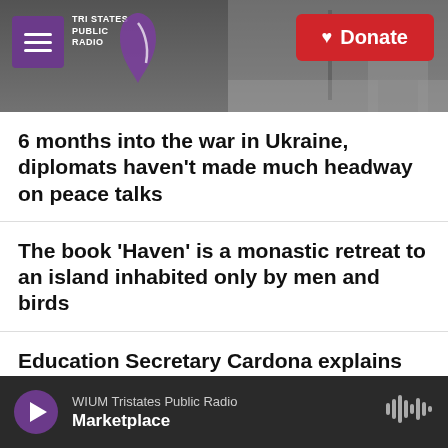Tri States Public Radio | Donate
6 months into the war in Ukraine, diplomats haven't made much headway on peace talks
The book 'Haven' is a monastic retreat to an island inhabited only by men and birds
Education Secretary Cardona explains Biden's student loan forgiveness plan
Florida Democrats vote Charlie Crist to take on Gov. DeSantis in November
WIUM Tristates Public Radio | Marketplace